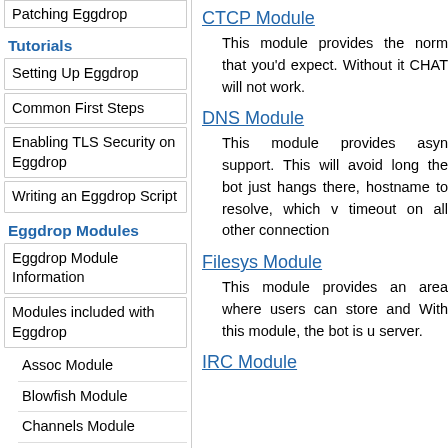Patching Eggdrop
Tutorials
Setting Up Eggdrop
Common First Steps
Enabling TLS Security on Eggdrop
Writing an Eggdrop Script
Eggdrop Modules
Eggdrop Module Information
Modules included with Eggdrop
Assoc Module
Blowfish Module
Channels Module
Compress Module
CTCP Module
This module provides the norm that you'd expect. Without it CHAT will not work.
DNS Module
This module provides asyn support. This will avoid long the bot just hangs there, hostname to resolve, which v timeout on all other connection
Filesys Module
This module provides an area where users can store and With this module, the bot is u server.
IRC Module